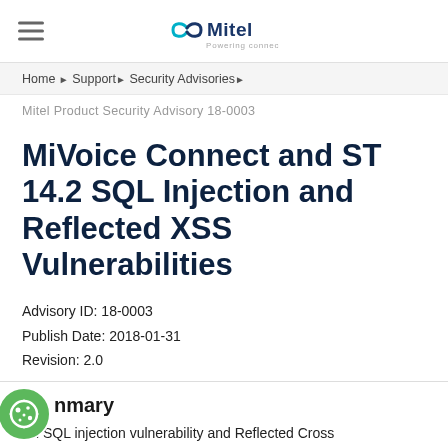Mitel — Powering connections
Home › Support › Security Advisories ›
Mitel Product Security Advisory 18-0003
MiVoice Connect and ST 14.2 SQL Injection and Reflected XSS Vulnerabilities
Advisory ID: 18-0003
Publish Date: 2018-01-31
Revision: 2.0
Summary
An SQL injection vulnerability and Reflected Cross